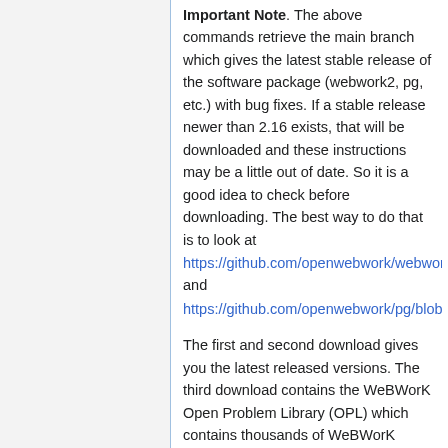Important Note. The above commands retrieve the main branch which gives the latest stable release of the software package (webwork2, pg, etc.) with bug fixes. If a stable release newer than 2.16 exists, that will be downloaded and these instructions may be a little out of date. So it is a good idea to check before downloading. The best way to do that is to look at https://github.com/openwebwork/webwork2/blob/main/VERSION and https://github.com/openwebwork/pg/blob/main/VERSION.
The first and second download gives you the latest released versions. The third download contains the WeBWorK Open Problem Library (OPL) which contains thousands of WeBWorK problems (over 37,000 currently).